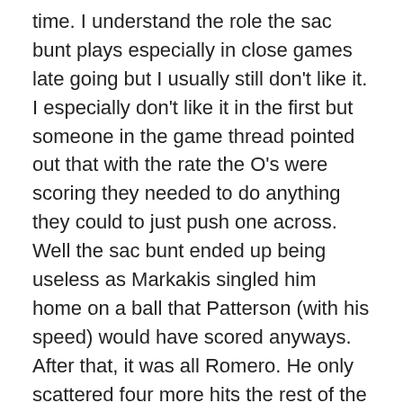time. I understand the role the sac bunt plays especially in close games late going but I usually still don't like it. I especially don't like it in the first but someone in the game thread pointed out that with the rate the O's were scoring they needed to do anything they could to just push one across. Well the sac bunt ended up being useless as Markakis singled him home on a ball that Patterson (with his speed) would have scored anyways. After that, it was all Romero. He only scattered four more hits the rest of the way around 2 walks while striking out 7, he threw 107 pitches. The first couple innings it looked like Romero was fighting the ball then in the 4th something flipped and he was nailing it. Probably helps that you are up against the O's offense but still.
For the offense after we gave up the run to kick off the